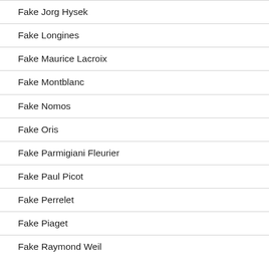Fake Jorg Hysek
Fake Longines
Fake Maurice Lacroix
Fake Montblanc
Fake Nomos
Fake Oris
Fake Parmigiani Fleurier
Fake Paul Picot
Fake Perrelet
Fake Piaget
Fake Raymond Weil